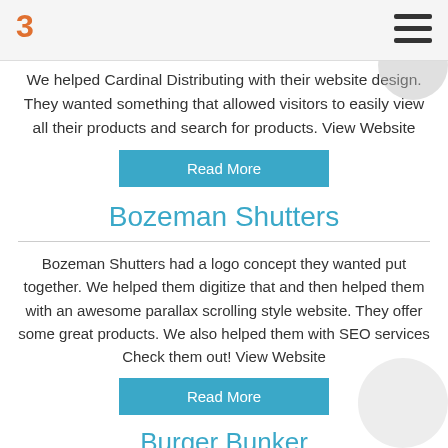3 [logo] [hamburger menu]
We helped Cardinal Distributing with their website design. They wanted something that allowed visitors to easily view all their products and search for products. View Website
Read More
Bozeman Shutters
Bozeman Shutters had a logo concept they wanted put together. We helped them digitize that and then helped them with an awesome parallax scrolling style website. They offer some great products. We also helped them with SEO services Check them out! View Website
Read More
Burger Bunker
We helped Burger Bunker in Great Falls, MT with their